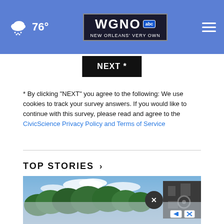WGNO ABC - New Orleans' Very Own | 76°
NEXT *
* By clicking "NEXT" you agree to the following: We use cookies to track your survey answers. If you would like to continue with this survey, please read and agree to the CivicScience Privacy Policy and Terms of Service
TOP STORIES ›
[Figure (photo): Outdoor photo showing green trees against a partly cloudy blue sky, with a dark building visible on the right side. Lower portion shows a frosted/semi-transparent overlay. An ad close (X) circle button and ad control buttons are visible in the lower right.]